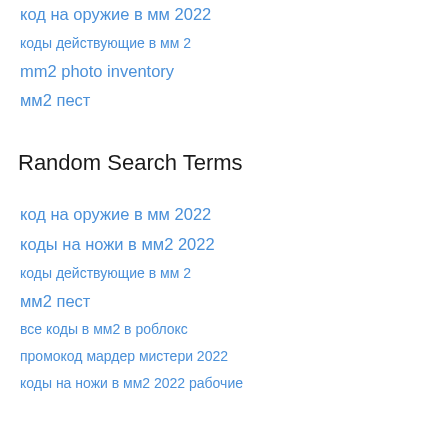код на оружие в мм 2022
коды действующие в мм 2
mm2 photo inventory
мм2 пест
Random Search Terms
код на оружие в мм 2022
коды на ножи в мм2 2022
коды действующие в мм 2
мм2 пест
все коды в мм2 в роблокс
промокод мардер мистери 2022
коды на ножи в мм2 2022 рабочие